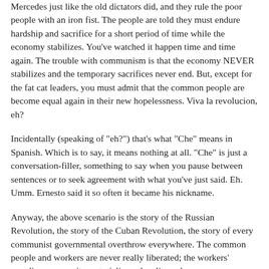Mercedes just like the old dictators did, and they rule the poor people with an iron fist. The people are told they must endure hardship and sacrifice for a short period of time while the economy stabilizes. You've watched it happen time and time again. The trouble with communism is that the economy NEVER stabilizes and the temporary sacrifices never end. But, except for the fat cat leaders, you must admit that the common people are become equal again in their new hopelessness. Viva la revolucion, eh?
Incidentally (speaking of "eh?") that's what "Che" means in Spanish. Which is to say, it means nothing at all. "Che" is just a conversation-filler, something to say when you pause between sentences or to seek agreement with what you've just said. Eh. Umm. Ernesto said it so often it became his nickname.
Anyway, the above scenario is the story of the Russian Revolution, the story of the Cuban Revolution, the story of every communist governmental overthrow everywhere. The common people and workers are never really liberated; the workers' paradise never quite materializes; the elites who run